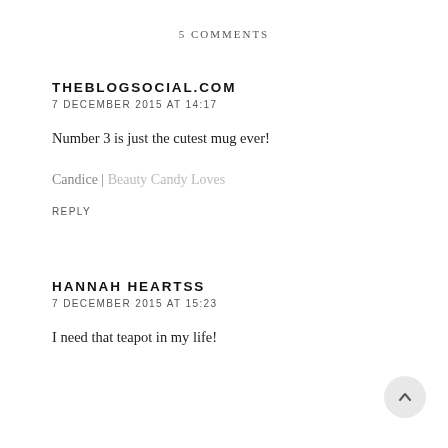5 COMMENTS
THEBLOGSOCIAL.COM
7 DECEMBER 2015 AT 14:17
Number 3 is just the cutest mug ever!
Candice | Beauty Candy Loves
REPLY
HANNAH HEARTSS
7 DECEMBER 2015 AT 15:23
I need that teapot in my life!